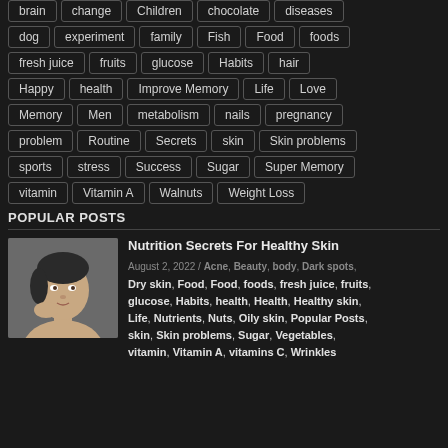brain, change, Children, chocolate, diseases
dog, experiment, family, Fish, Food, foods
fresh juice, fruits, glucose, Habits, hair
Happy, health, Improve Memory, Life, Love
Memory, Men, metabolism, nails, pregnancy
problem, Routine, Secrets, skin, Skin problems
sports, stress, Success, Sugar, Super Memory
vitamin, Vitamin A, Walnuts, Weight Loss
POPULAR POSTS
[Figure (photo): Woman touching her face, skincare photo]
Nutrition Secrets For Healthy Skin
August 2, 2022 / Acne, Beauty, body, Dark spots, Dry skin, Food, Food, foods, fresh juice, fruits, glucose, Habits, health, Health, Healthy skin, Life, Nutrients, Nuts, Oily skin, Popular Posts, skin, Skin problems, Sugar, Vegetables, vitamin, Vitamin A, vitamins C, Wrinkles